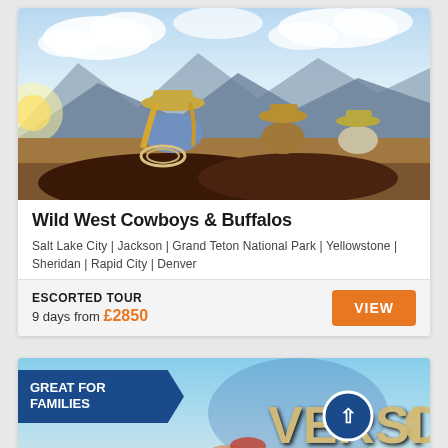[Figure (photo): Cowboys on horseback riding through mountain landscape with blue sky and clouds, woman in foreground wearing cowboy hat holding a lasso]
Wild West Cowboys & Buffalos
Salt Lake City | Jackson | Grand Teton National Park | Yellowstone | Sheridan | Rapid City | Denver
ESCORTED TOUR
9 days from £2850
VIEW
[Figure (photo): Great For Families banner with Universal Studios globe letters VERSI visible, family in foreground, blue sky background. Circular scroll-up button visible.]